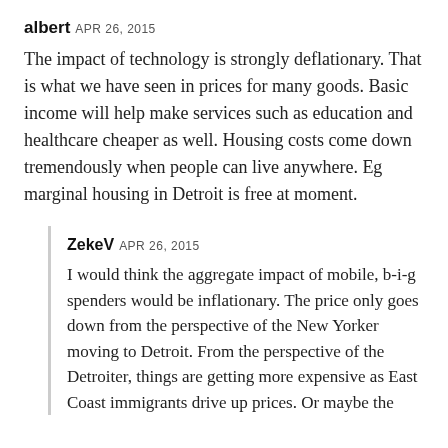albert APR 26, 2015
The impact of technology is strongly deflationary. That is what we have seen in prices for many goods. Basic income will help make services such as education and healthcare cheaper as well. Housing costs come down tremendously when people can live anywhere. Eg marginal housing in Detroit is free at moment.
ZekeV APR 26, 2015
I would think the aggregate impact of mobile, b-i-g spenders would be inflationary. The price only goes down from the perspective of the New Yorker moving to Detroit. From the perspective of the Detroiter, things are getting more expensive as East Coast immigrants drive up prices. Or maybe the